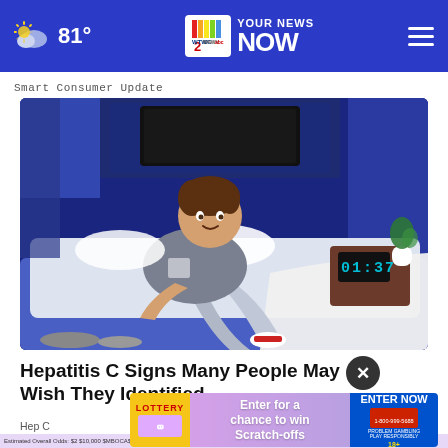81° — WTWC WAWV NBC2 YOUR NEWS NOW — hamburger menu
Smart Consumer Update
[Figure (illustration): Illustration of a man in gray t-shirt and shorts lying on a bed in a dark bedroom with a nightstand, alarm clock showing 01:37, plant, and TV on the wall.]
Hepatitis C Signs Many People May Wish They Identified...
Hep C
[Figure (other): Advertisement overlay: Lottery scratch-offs ad with text 'Enter for a chance to win Scratch-offs' and 'ENTER NOW' button.]